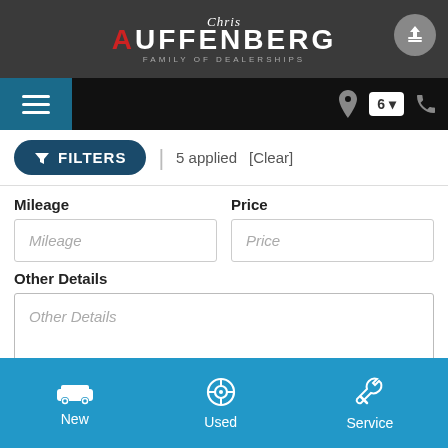Chris Auffenberg Family of Dealerships
FILTERS | 5 applied [Clear]
Mileage
Mileage (input field)
Price
Price (input field)
Other Details
Other Details (input field)
New | Used | Service